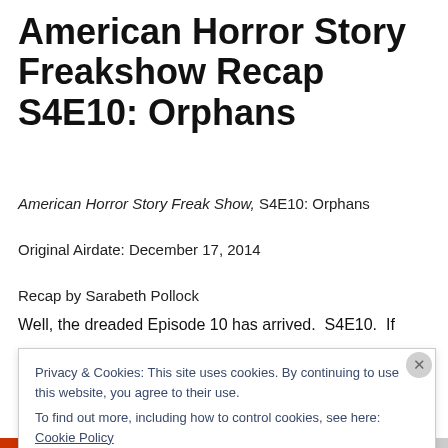American Horror Story Freakshow Recap S4E10: Orphans
American Horror Story Freak Show, S4E10: Orphans
Original Airdate: December 17, 2014
Recap by Sarabeth Pollock
Well, the dreaded Episode 10 has arrived.  S4E10.  If
Privacy & Cookies: This site uses cookies. By continuing to use this website, you agree to their use.
To find out more, including how to control cookies, see here: Cookie Policy
Close and accept